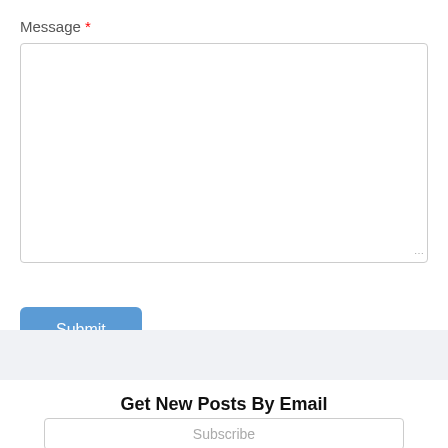Message *
[Figure (screenshot): Empty textarea input box for message field]
[Figure (screenshot): Blue Submit button]
Get New Posts By Email
[Figure (screenshot): Subscribe input box placeholder]